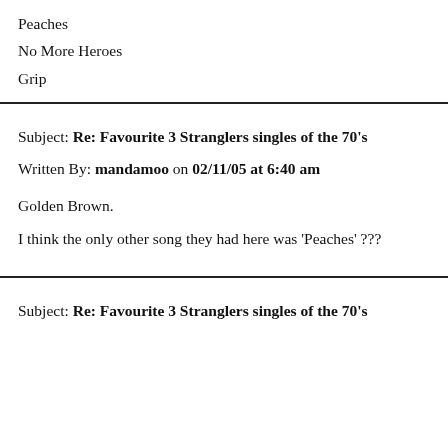Peaches
No More Heroes
Grip
Subject: Re: Favourite 3 Stranglers singles of the 70's
Written By: mandamoo on 02/11/05 at 6:40 am
Golden Brown.
I think the only other song they had here was 'Peaches' ???
Subject: Re: Favourite 3 Stranglers singles of the 70's